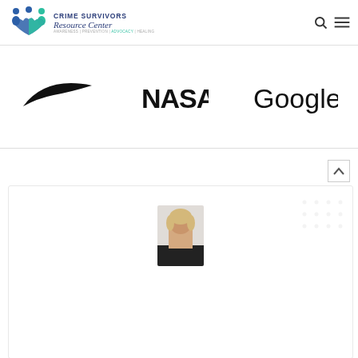[Figure (logo): Crime Survivors Resource Center logo with icon of people forming a heart shape with hands, colored in blue and teal, with text 'CRIME SURVIVORS Resource Center' and tagline 'AWARENESS | PREVENTION | ADVOCACY | HEALING']
[Figure (logo): Nike swoosh logo in black]
[Figure (logo): NASA logo text in black bold font]
[Figure (logo): Google logo in black thin font]
[Figure (photo): Partial photo of a woman with blonde hair, appears to be a profile or headshot, visible at bottom of page]